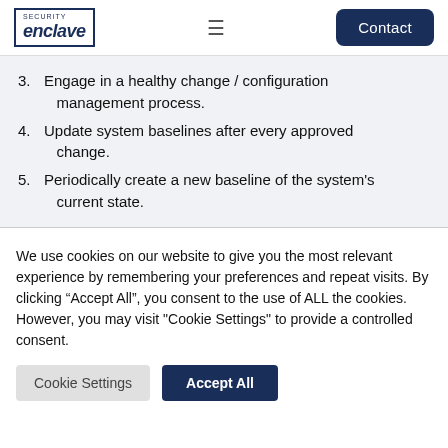enclave | Contact
3. Engage in a healthy change / configuration management process.
4. Update system baselines after every approved change.
5. Periodically create a new baseline of the system's current state.
We use cookies on our website to give you the most relevant experience by remembering your preferences and repeat visits. By clicking “Accept All”, you consent to the use of ALL the cookies. However, you may visit "Cookie Settings" to provide a controlled consent.